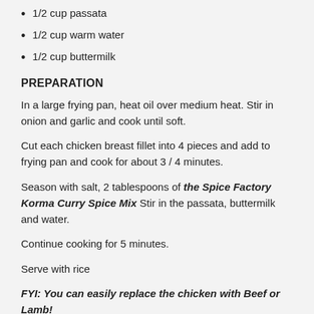1/2 cup passata
1/2 cup warm water
1/2 cup buttermilk
PREPARATION
In a large frying pan, heat oil over medium heat. Stir in onion and garlic and cook until soft.
Cut each chicken breast fillet into 4 pieces and add to frying pan and cook for about 3 / 4 minutes.
Season with salt, 2 tablespoons of the Spice Factory Korma Curry Spice Mix Stir in the passata, buttermilk and water.
Continue cooking for 5 minutes.
Serve with rice
FYI: You can easily replace the chicken with Beef or Lamb!
Make a Dip out of it!
You can use natural yoghurt, sour cream, mayonnaise or